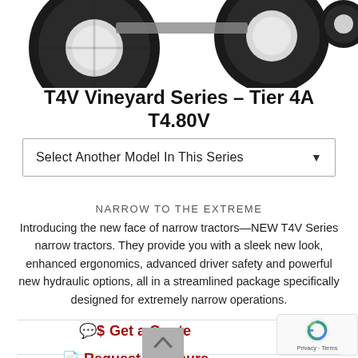[Figure (photo): Top portion of a T4V Vineyard Series tractor showing large black agricultural tires with white rims against a white background]
T4V Vineyard Series – Tier 4A T4.80V
Select Another Model In This Series
NARROW TO THE EXTREME
Introducing the new face of narrow tractors—NEW T4V Series narrow tractors. They provide you with a sleek new look, enhanced ergonomics, advanced driver safety and powerful new hydraulic options, all in a streamlined package specifically designed for extremely narrow operations.
Get a Quote
Request Brochure